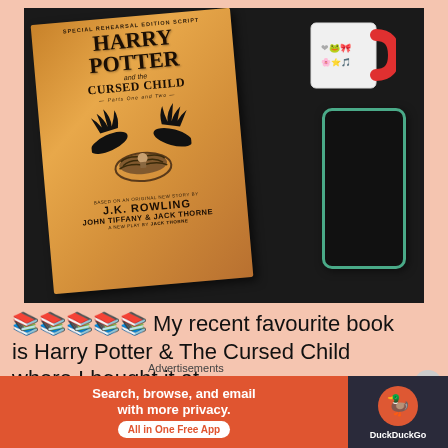[Figure (photo): Photo of Harry Potter and the Cursed Child book (Special Rehearsal Edition Script, Parts One and Two) lying on a dark surface, with a white mug with red handle at top right and a smartphone with green case at right.]
📚📚📚📚📚 My recent favourite book is Harry Potter & The Cursed Child where I bought it at
Advertisements
[Figure (screenshot): DuckDuckGo advertisement banner: orange left side reading 'Search, browse, and email with more privacy. All in One Free App', dark right side with DuckDuckGo logo and text.]